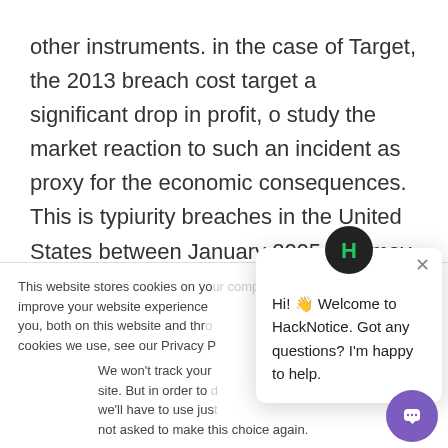other instruments. in the case of Target, the 2013 breach cost target a significant drop in profit, o study the market reaction to such an incident as proxy for the economic consequences. This is typiurity breaches in the United States between January 2005 and may 2008, excluding incidents where sen
This website stores cookies on your computer. These are used to improve your website experience you, both on this website and through cookies we use, see our Privacy P
We won't track your site. But in order to we'll have to use jus not asked to make this choice again.
[Figure (screenshot): HackNotice chat popup with H logo icon on dark circle, close X button, and message: Hi! 👋 Welcome to HackNotice. Got any questions? I'm happy to help.]
Accept
Decline